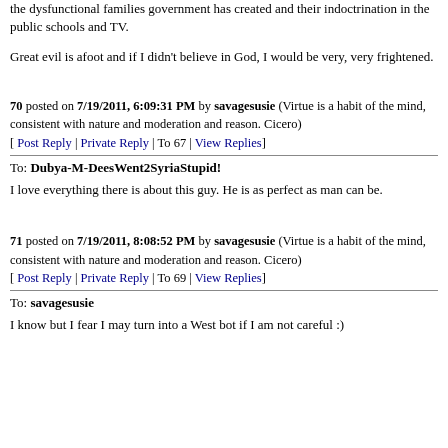the dysfunctional families government has created and their indoctrination in the public schools and TV.
Great evil is afoot and if I didn't believe in God, I would be very, very frightened.
70 posted on 7/19/2011, 6:09:31 PM by savagesusie (Virtue is a habit of the mind, consistent with nature and moderation and reason. Cicero)
[ Post Reply | Private Reply | To 67 | View Replies]
To: Dubya-M-DeesWent2SyriaStupid!
I love everything there is about this guy. He is as perfect as man can be.
71 posted on 7/19/2011, 8:08:52 PM by savagesusie (Virtue is a habit of the mind, consistent with nature and moderation and reason. Cicero)
[ Post Reply | Private Reply | To 69 | View Replies]
To: savagesusie
I know but I fear I may turn into a West bot if I am not careful :)